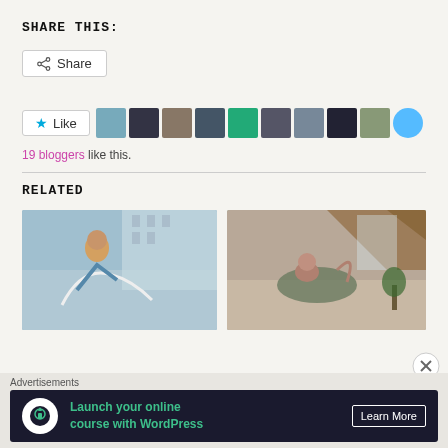SHARE THIS:
[Figure (screenshot): Share button with icon]
[Figure (screenshot): Like button with star icon and row of 10 blogger avatars]
19 bloggers like this.
RELATED
[Figure (photo): Woman doing push-up or plank exercise outdoors near a building]
[Figure (photo): Woman doing yoga bow pose indoors on a mat]
Advertisements
[Figure (screenshot): Advertisement banner: Launch your online course with WordPress - Learn More button, dark background with green text and white circle icon]